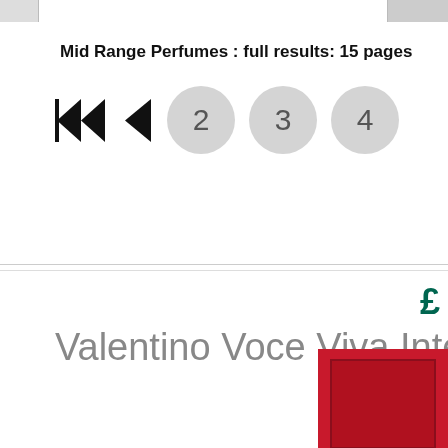Mid Range Perfumes : full results: 15 pages
[Figure (infographic): Pagination controls: skip-back double arrow, back single arrow, and page number circles showing 2, 3, 4]
£
Valentino Voce Viva Inte
Perf
[Figure (photo): Red perfume box product image, partially visible]